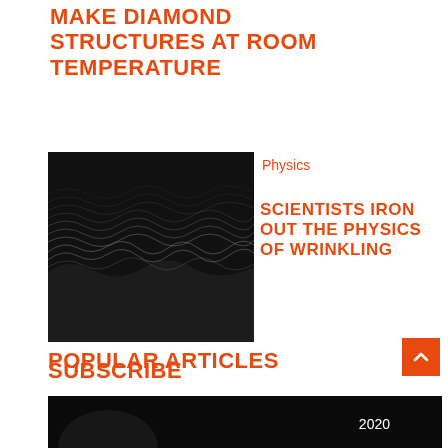MAKE DIAMOND STRUCTURES AT ROOM TEMPERATURE
[Figure (photo): Black and white digital wave pattern image]
Physics
SCIENTISTS IRON OUT THE PHYSICS OF WRINKLING
SUBSCRIBE
SciTechDaily: Home of the best science and technology news since 1998. Keep up with the latest scitech news via email or social media.
E-mail
POPULAR ARTICLES
[Figure (photo): Dark image at bottom of page with year label 2020]